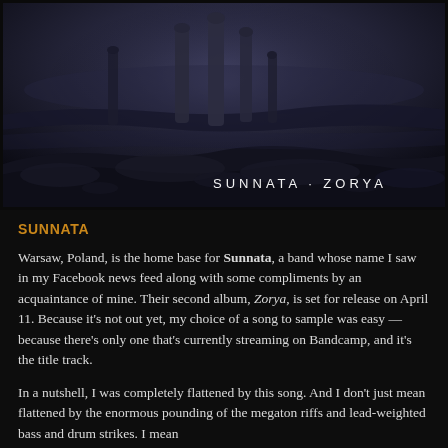[Figure (illustration): Dark atmospheric album cover for Sunnata - Zorya. Shows a desolate rocky seascape with tall stone formations rising from rocks under a dim, moody sky. White text 'SUNNATA · ZORYA' overlaid at the bottom right of the image.]
SUNNATA
Warsaw, Poland, is the home base for Sunnata, a band whose name I saw in my Facebook news feed along with some compliments by an acquaintance of mine. Their second album, Zorya, is set for release on April 11. Because it's not out yet, my choice of a song to sample was easy — because there's only one that's currently streaming on Bandcamp, and it's the title track.
In a nutshell, I was completely flattened by this song. And I don't just mean flattened by the enormous pounding of the megaton riffs and lead-weighted bass and drum strikes. I mean